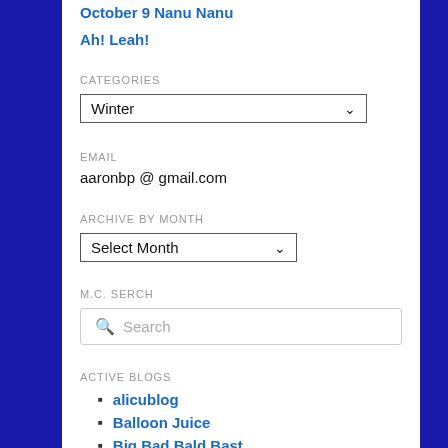October 9 Nanu Nanu
Ah! Leah!
CATEGORIES
Winter (dropdown)
EMAIL
aaronbp @ gmail.com
ARCHIVE BY MONTH
Select Month (dropdown)
M.C. SERCH
Search
ACTIVE BLOGS
alicublog
Balloon Juice
Big Bad Bald Bastard